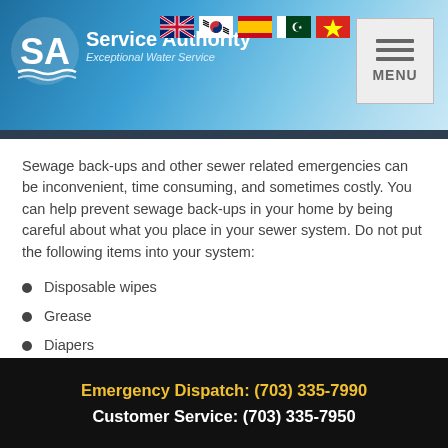Service Authority – Exceptional Water Service
Sewage back-ups and other sewer related emergencies can be inconvenient, time consuming, and sometimes costly. You can help prevent sewage back-ups in your home by being careful about what you place in your sewer system. Do not put the following items into your system:
Disposable wipes
Grease
Diapers
Tampons
Paper towels
Antifreeze
Emergency Dispatch: (703) 335-7990  Customer Service: (703) 335-7950